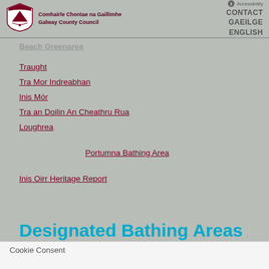[Figure (logo): Galway County Council logo with shield emblem]
Comhairle Chontae na Gaillimhe Galway County Council | Accessibility CONTACT GAEILGE ENGLISH
Beach Greenarea (breadcrumb, partially visible)
Traught
Tra Mor Indreabhan
Inis Mór
Tra an Doilin An Cheathru Rua
Loughrea
Portumna Bathing Area
Inis Oirr Heritage Report
Designated Bathing Areas
Cookie Consent